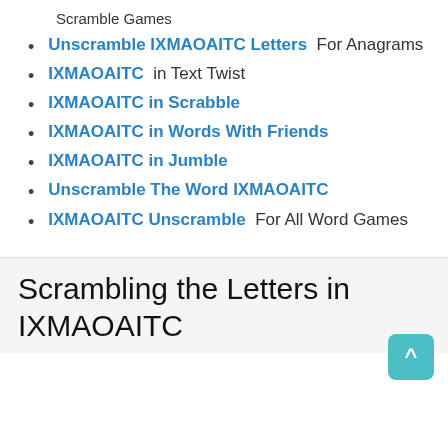Scramble Games
Unscramble IXMAOAITC Letters  For Anagrams
IXMAOAITC  in Text Twist
IXMAOAITC in Scrabble
IXMAOAITC in Words With Friends
IXMAOAITC in Jumble
Unscramble The Word IXMAOAITC
IXMAOAITC Unscramble  For All Word Games
Scrambling the Letters in IXMAOAITC